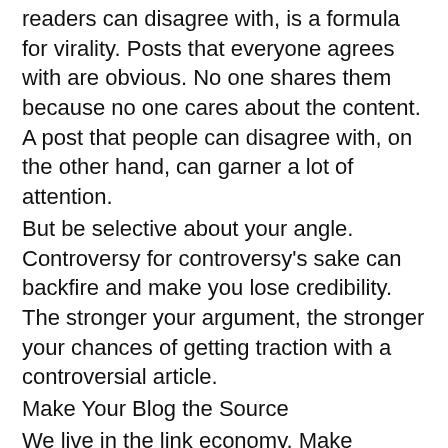readers can disagree with, is a formula for virality. Posts that everyone agrees with are obvious. No one shares them because no one cares about the content. A post that people can disagree with, on the other hand, can garner a lot of attention.
But be selective about your angle. Controversy for controversy's sake can backfire and make you lose credibility. The stronger your argument, the stronger your chances of getting traction with a controversial article.
Make Your Blog the Source
We live in the link economy. Make yourself a go-to source for topical industry stories by setting up an account on HARO  (help a reporter out), following hashtags like #PRRequest and #JournoRequest, and by following industry-relevant journalists and bloggers on Twitter.
When a relevant story comes your way, offer your (well-written) opinion to the journalist. Usually the journalist will link back to your website in their article. If the journalist is discussing a topic you've written about for your blog,